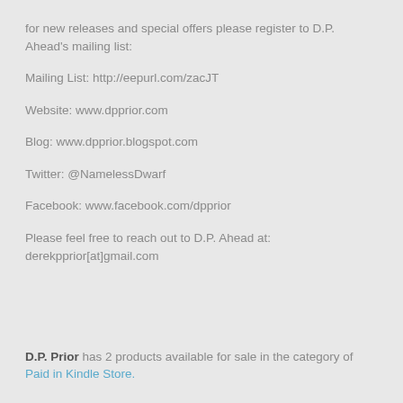for new releases and special offers please register to D.P. Ahead's mailing list:
Mailing List: http://eepurl.com/zacJT
Website: www.dpprior.com
Blog: www.dpprior.blogspot.com
Twitter: @NamelessDwarf
Facebook: www.facebook.com/dpprior
Please feel free to reach out to D.P. Ahead at: derekpprior[at]gmail.com
D.P. Prior has 2 products available for sale in the category of Paid in Kindle Store.